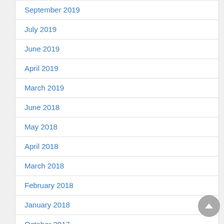September 2019
July 2019
June 2019
April 2019
March 2019
June 2018
May 2018
April 2018
March 2018
February 2018
January 2018
October 2017